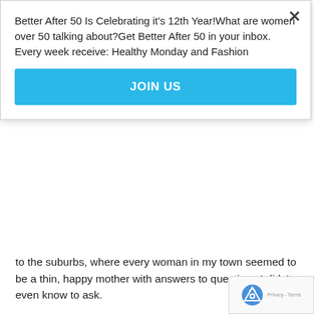Better After 50 Is Celebrating it's 12th Year!What are women over 50 talking about?Get Better After 50 in your inbox. Every week receive: Healthy Monday and Fashion
JOIN US
to the suburbs, where every woman in my town seemed to be a thin, happy mother with answers to questions I didn't even know to ask.
When I was fifty, I wanted to be forty. My metabolism had slowed down, and the graying of my hair had sped up. Why had I thought forty was so old?
When I was fifty-three I wanted to be forty one. I was thrilled to have my first book published, but my co-authors were twelve years younger than me, and the grueling travel and speaking engagements on our book tour seemed to energize them and enervate me. I felt old.
When I was fifty-five, I wanted to be back in my forties, whe... children's lives burst with possibility, filling mine with color. My...